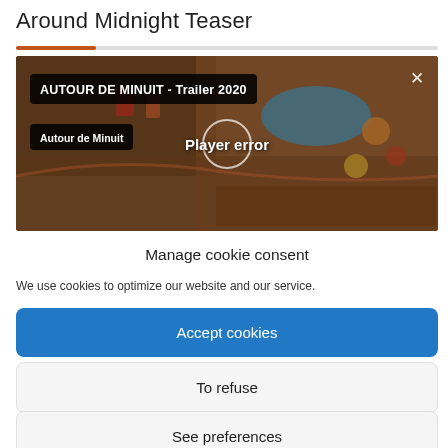Around Midnight Teaser
[Figure (screenshot): Video player thumbnail showing a miniature scene from 'AUTOUR DE MINUIT - Trailer 2020' with a player error message overlay. The video player shows a dark overlay with black label boxes containing the video title and channel name, and a 'Player error' message in the center.]
Manage cookie consent
We use cookies to optimize our website and our service.
Accept cookies
To refuse
See preferences